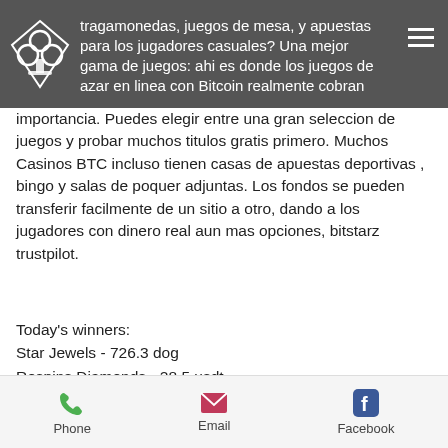tragamonedas, juegos de mesa, y apuestas para los jugadores casuales? Una mejor gama de juegos: ahi es donde los juegos de azar en linea con Bitcoin realmente cobran importancia.
Puedes elegir entre una gran seleccion de juegos y probar muchos titulos gratis primero. Muchos Casinos BTC incluso tienen casas de apuestas deportivas , bingo y salas de poquer adjuntas. Los fondos se pueden transferir facilmente de un sitio a otro, dando a los jugadores con dinero real aun mas opciones, bitstarz trustpilot.
Today's winners:
Star Jewels - 726.3 dog
Respins Diamonds - 28.5 usdt
Frozen Diamonds - 182.3 eth
Tarzan - 451.4 bch
Phone  Email  Facebook